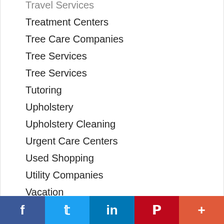Travel Services
Treatment Centers
Tree Care Companies
Tree Services
Tree Services
Tutoring
Upholstery
Upholstery Cleaning
Urgent Care Centers
Used Shopping
Utility Companies
Vacation
Vacation & Travel
Vacation Rentals
[Figure (infographic): Social media sharing bar with Facebook (blue), Twitter (light blue), LinkedIn (dark blue), Pinterest (red), and More (orange-red) buttons]